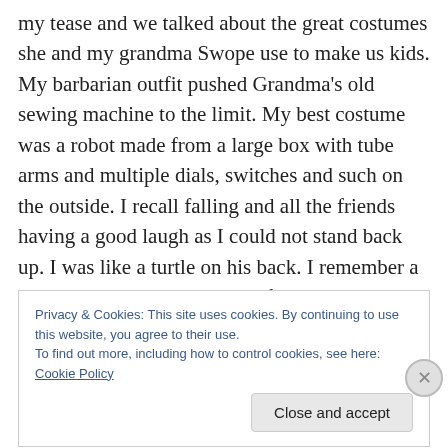my tease and we talked about the great costumes she and my grandma Swope use to make us kids. My barbarian outfit pushed Grandma's old sewing machine to the limit. My best costume was a robot made from a large box with tube arms and multiple dials, switches and such on the outside. I recall falling and all the friends having a good laugh as I could not stand back up. I was like a turtle on his back. I remember a great Halloween party at one friends house with games and such. I had a wonderful childhood and for that I feel grateful because as an adult I realize that is not always the case. So during the season I
Privacy & Cookies: This site uses cookies. By continuing to use this website, you agree to their use.
To find out more, including how to control cookies, see here: Cookie Policy